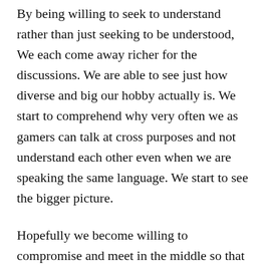By being willing to seek to understand rather than just seeking to be understood, We each come away richer for the discussions. We are able to see just how diverse and big our hobby actually is. We start to comprehend why very often we as gamers can talk at cross purposes and not understand each other even when we are speaking the same language. We start to see the bigger picture.
Hopefully we become willing to compromise and meet in the middle so that we can play sometimes. Perhaps each of us takes turns playing in the other persons preferred manner so we can experience it and understand it better. We may still find that it is not and may never be our first choice, but we give it a shot. Sure, it probably won't be an optimal experience, but